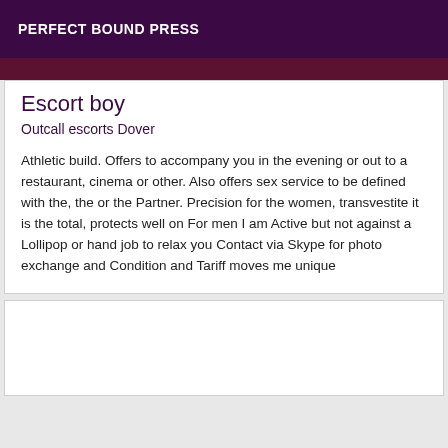PERFECT BOUND PRESS
Escort boy
Outcall escorts Dover
Athletic build. Offers to accompany you in the evening or out to a restaurant, cinema or other. Also offers sex service to be defined with the, the or the Partner. Precision for the women, transvestite it is the total, protects well on For men I am Active but not against a Lollipop or hand job to relax you Contact via Skype for photo exchange and Condition and Tariff moves me unique